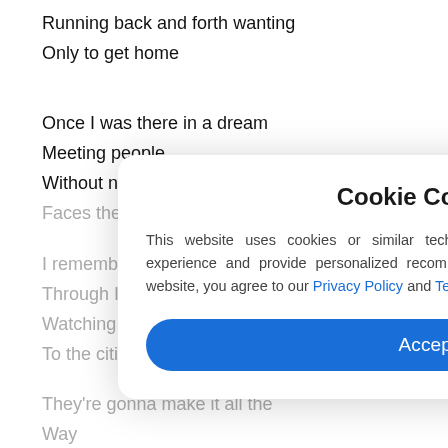Running back and forth wanting
Only to get home
Once I was there in a dream
Meeting people
Without names and without
Faces they lived
I remember the first time I drove
Through Indiana
Watching semis hauling grain
To the cities
They're gonna make it all the
Way
Where the mountains touch
The sky and rivers bend
Cookie Consent

This website uses cookies or similar technologies, to enhance your browsing experience and provide personalized recommendations. By continuing to use our website, you agree to our Privacy Policy and Terms.

Accept